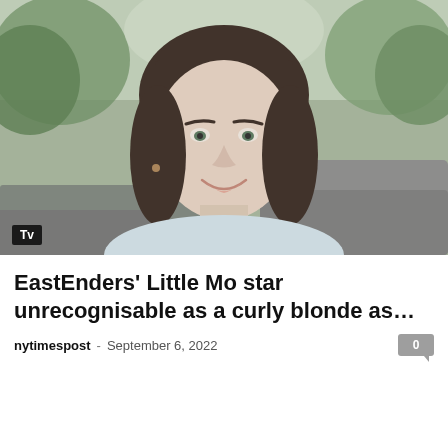[Figure (photo): Portrait photo of a woman with dark hair and bangs, smiling, outdoors with green trees in background. A 'Tv' badge is overlaid in the bottom-left corner.]
EastEnders' Little Mo star unrecognisable as a curly blonde as…
nytimespost  -  September 6, 2022